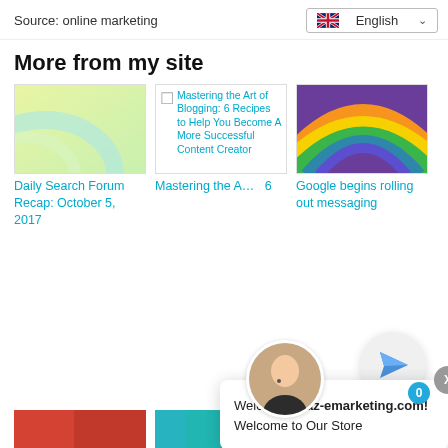Source: online marketing
English
More from my site
[Figure (screenshot): Yellow-green gradient abstract image card for Daily Search Forum Recap]
Daily Search Forum Recap: October 5, 2017
[Figure (screenshot): Broken image placeholder showing alt text: Mastering the Art of Blogging: 6 Recipes to Help You Become A More Successful Content Creator]
Mastering the A...6
[Figure (illustration): Rainbow colored arcs on purple background]
Google begins rolling out messaging
[Figure (photo): Customer service agent avatar photo in circular crop]
Welcome to az-emarketing.com! Welcome to Our Store
More Successful Content Creator
[Figure (illustration): Paper plane send button icon]
0
[Figure (photo): Red image thumbnail at bottom left]
[Figure (photo): Teal/blue image thumbnail at bottom center]
[Figure (photo): Dark navy image thumbnail at bottom right]